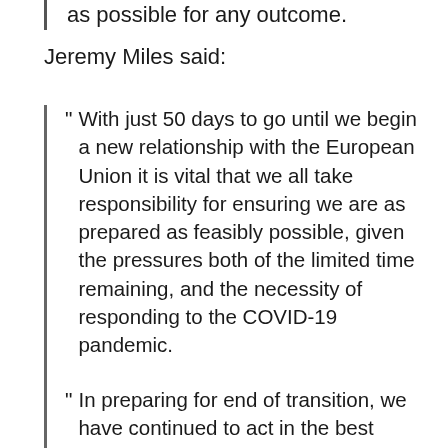as possible for any outcome.
Jeremy Miles said:
" With just 50 days to go until we begin a new relationship with the European Union it is vital that we all take responsibility for ensuring we are as prepared as feasibly possible, given the pressures both of the limited time remaining, and the necessity of responding to the COVID-19 pandemic.
" In preparing for end of transition, we have continued to act in the best interests of our nation; working with local partners, businesses and communities across Wales to support them as they get ready for what comes next. There is uncertainty and a degree of anxiety about the next stage, but I want to reassure people in Wales that the